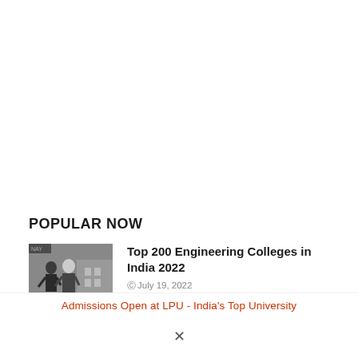POPULAR NOW
[Figure (photo): Black and white photo of two people, likely students, outdoors near a building]
Top 200 Engineering Colleges in India 2022
©July 19, 2022
Admissions Open at LPU - India's Top University